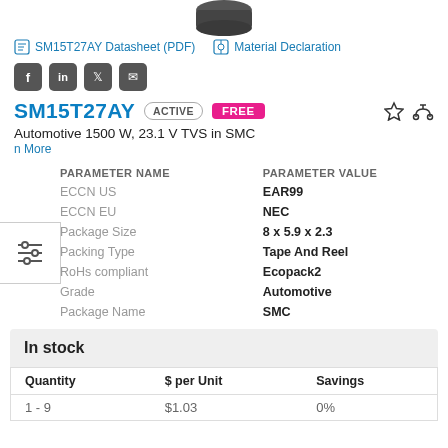[Figure (photo): Black electronic component (SMC package) shown from top angle]
SM15T27AY Datasheet (PDF)   Material Declaration
[Figure (other): Social media share buttons: Facebook, LinkedIn, Twitter, Email]
SM15T27AY  ACTIVE  FREE
Automotive 1500 W, 23.1 V TVS in SMC
| PARAMETER NAME | PARAMETER VALUE |
| --- | --- |
| ECCN US | EAR99 |
| ECCN EU | NEC |
| Package Size | 8 x 5.9 x 2.3 |
| Packing Type | Tape And Reel |
| RoHs compliant | Ecopack2 |
| Grade | Automotive |
| Package Name | SMC |
In stock
| Quantity | $ per Unit | Savings |
| --- | --- | --- |
| 1 - 9 | $1.03 | 0% |